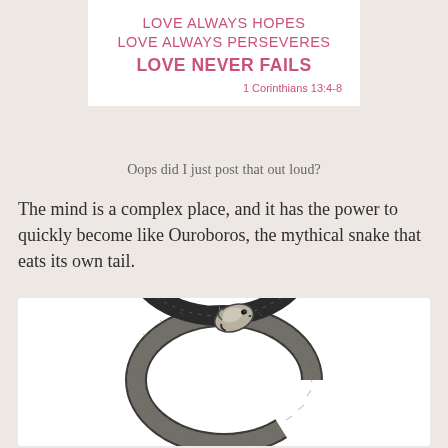[Figure (illustration): White card with pink/rose text reading: LOVE ALWAYS HOPES / LOVE ALWAYS PERSEVERES / LOVE NEVER FAILS / 1 Corinthians 13:4-8]
Oops did I just post that out loud?
The mind is a complex place, and it has the power to quickly become like Ouroboros, the mythical snake that eats its own tail.
[Figure (illustration): Black and white detailed dotwork illustration of an Ouroboros — a snake eating its own tail, forming a circle. The snake has detailed scales and the head is at the top biting its own tail.]